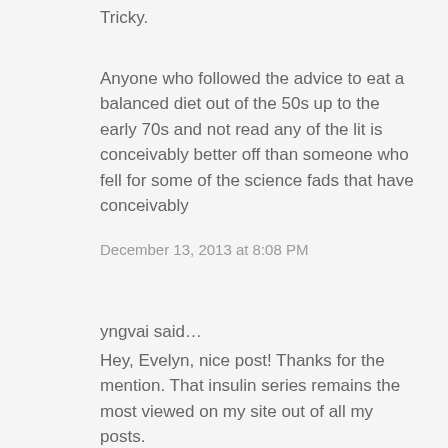Tricky.
Anyone who followed the advice to eat a balanced diet out of the 50s up to the early 70s and not read any of the lit is conceivably better off than someone who fell for some of the science fads that have conceivably
December 13, 2013 at 8:08 PM
yngvai said…
Hey, Evelyn, nice post! Thanks for the mention. That insulin series remains the most viewed on my site out of all my posts.
December 13, 2013 at 9:03 PM
Gonçalo Moreira said…
Oh thanks a lot!! I forgot about Bryan Chung and I didn't know Brad Schoenfeld! Nice